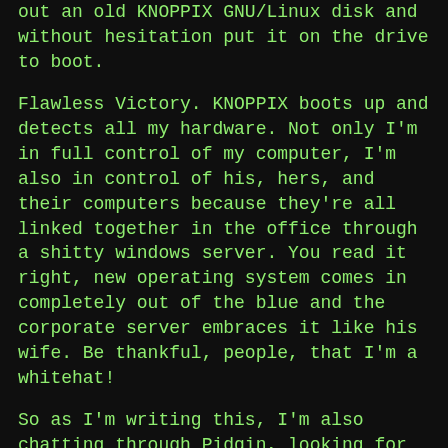out an old KNOPPIX GNU/Linux disk and without hesitation put it on the drive to boot.
Flawless Victory. KNOPPIX boots up and detects all my hardware. Not only I'm in full control of my computer, I'm also in control of his, hers, and their computers because they're all linked together in the office through a shitty windows server. You read it right, new operating system comes in completely out of the blue and the corporate server embraces it like his wife. Be thankful, people, that I'm a whitehat!
So as I'm writing this, I'm also chatting through Pidgin, looking for torrents and Facebooking at will. Proxies? To hell with them! KNOPPIX pwns everyone, your Mother included. Also, Compiz-Fusion has been enabled by default and now everyone knows that my desktop rocks. I guess even IT guy wouldn't have expected that. And guess what, he can't do SHIT about it. He can't because I'm doing ALL of these from two temporary storage things, namely CD and RAM. Yeah, babe, no hard disk storage needed, I could hack all the afternoon and still when I went home all my traces would be